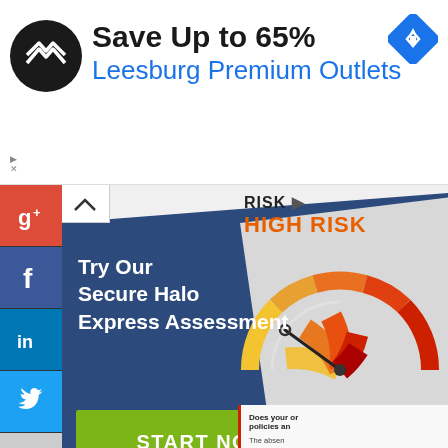[Figure (screenshot): Top advertisement banner: Black circle logo with two overlapping arrow shapes, text 'Save Up to 65%' in bold black, 'Leesburg Premium Outlets' in blue, blue diamond navigation icon top right, sponsored label bottom left]
[Figure (screenshot): Cybersecurity advertisement with dark blue panel on left showing 'Try Our Secure Halo Express Assessment' in white text, green START NOW button, and right side showing a risk gauge meter pointing to HIGH RISK in orange/red, partial text about policies]
[Figure (screenshot): WGU university advertisement on teal/blue background with clock illustration showing hands at approximately 10:10, WGU owl logo top right, star decorations scattered across background]